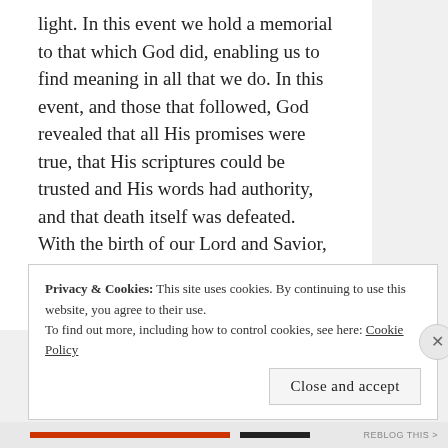light. In this event we hold a memorial to that which God did, enabling us to find meaning in all that we do. In this event, and those that followed, God revealed that all His promises were true, that His scriptures could be trusted and His words had authority, and that death itself was defeated. With the birth of our Lord and Savior, God abolished darkness forever, allowed victory over sin, and proved that each person meant something, because they were loved by an infinite creator.
Privacy & Cookies: This site uses cookies. By continuing to use this website, you agree to their use. To find out more, including how to control cookies, see here: Cookie Policy
Close and accept